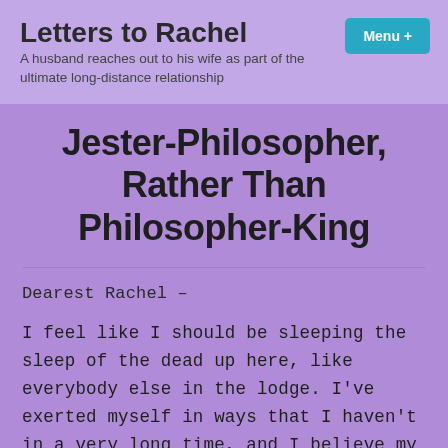Letters to Rachel
A husband reaches out to his wife as part of the ultimate long-distance relationship
Jester-Philosopher, Rather Than Philosopher-King
Dearest Rachel –
I feel like I should be sleeping the sleep of the dead up here, like everybody else in the lodge. I've exerted myself in ways that I haven't in a very long time, and I believe my body knows it needs rest. But while it tries to get that needed rest, my mind is spinning like a balding tire in a snowstorm.